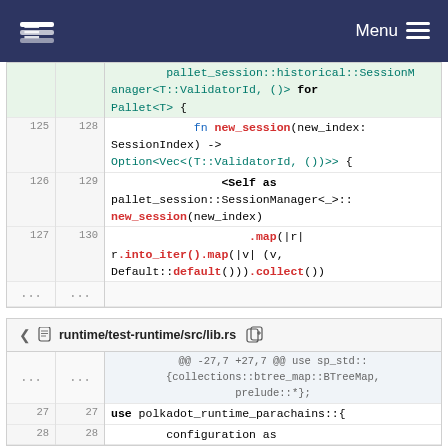Menu
[Figure (screenshot): Rust code diff showing pallet_session::historical::SessionManager trait implementation for Pallet<T>, with fn new_session and .map/.collect calls. Lines 125-130 shown.]
runtime/test-runtime/src/lib.rs
[Figure (screenshot): Rust code diff for runtime/test-runtime/src/lib.rs showing @@ -27,7 +27,7 @@ use sp_std::{collections::btree_map::BTreeMap, prelude::*}; and use polkadot_runtime_parachains::{ and configuration as. Lines 27-28.]